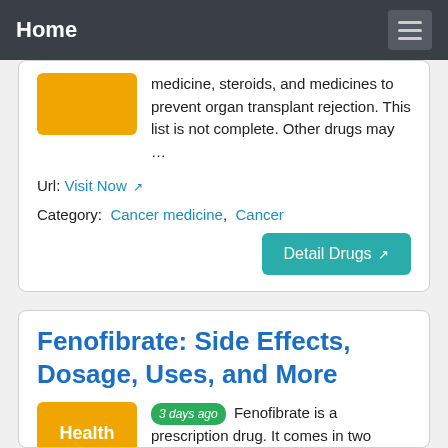Home
medicine, steroids, and medicines to prevent organ transplant rejection. This list is not complete. Other drugs may …
Url: Visit Now
Category: Cancer medicine, Cancer
Detail Drugs
Fenofibrate: Side Effects, Dosage, Uses, and More
(3 days ago) Fenofibrate is a prescription drug. It comes in two